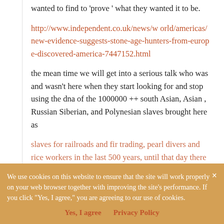wanted to find to 'prove ' what they wanted it to be.
http://www.independent.co.uk/news/world/americas/new-evidence-suggests-stone-age-hunters-from-europe-discovered-america-7447152.html
the mean time we will get into a serious talk who was and wasn't here when they start looking for and stop using the dna of the 1000000 ++ south Asian, Asian , Russian Siberian, and Polynesian slaves brought here as slaves for railroads and fir trading, pearl divers and rice workers in the last 500 years, until that day there can't be a serious discussion.
We use cookies on this website to ensure that the site will work properly on your web browser together with improving the site's performance. If you click "Yes, I agree," you are agreeing to our use of cookies.
Yes, I agree   Privacy Policy